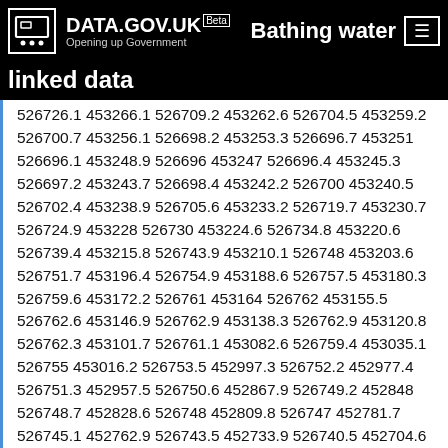DATA.GOV.UK Beta — Opening up Government — Bathing water linked data
526726.1 453266.1 526709.2 453262.6 526704.5 453259.2 526700.7 453256.1 526698.2 453253.3 526696.7 453251 526696.1 453248.9 526696 453247 526696.4 453245.3 526697.2 453243.7 526698.4 453242.2 526700 453240.5 526702.4 453238.9 526705.6 453233.2 526719.7 453230.7 526724.9 453228 526730 453224.6 526734.8 453220.6 526739.4 453215.8 526743.9 453210.1 526748 453203.6 526751.7 453196.4 526754.9 453188.6 526757.5 453180.3 526759.6 453172.2 526761 453164 526762 453155.5 526762.6 453146.9 526762.9 453138.3 526762.9 453120.8 526762.3 453101.7 526761.1 453082.6 526759.4 453035.1 526755 453016.2 526753.5 452997.3 526752.2 452977.4 526751.3 452957.5 526750.6 452867.9 526749.2 452848 526748.7 452828.6 526748 452809.8 526747 452781.7 526745.1 452762.9 526743.5 452733.9 526740.5 452704.6 526737.2 452666.7 526732.5 452649 526730.1 452632.2 526727.3 452617.1 526724.1 452577.4 526714.5 452540.5 526706.3 452531.2 526704.1 452522.1 526701.7 452513 526699.1 452504 526696.1 452495.6 526693 452487.3 526689.5 452479